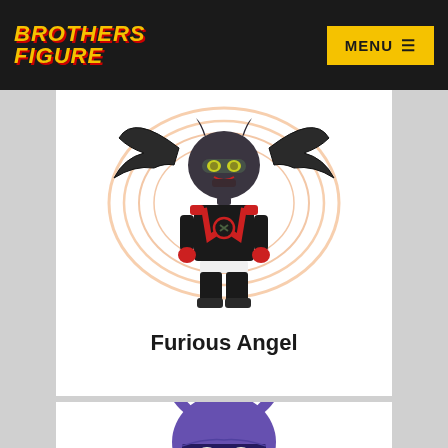BROTHERS FIGURE | MENU
[Figure (photo): LEGO minifigure of Furious Angel character — bat-winged dark helmet, black and red costume with X motif, red hands. Displayed on white background with orange wing-swipe graphic.]
Furious Angel
[Figure (photo): Partial view of a purple-helmeted LEGO minifigure (Batgirl-style) with cat-ear cowl, visible from the top of the head downward, cropped at bottom of page.]